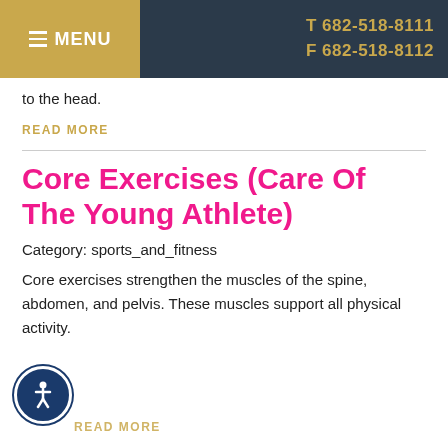MENU  T 682-518-8111  F 682-518-8112
to the head.
READ MORE
Core Exercises (Care Of The Young Athlete)
Category: sports_and_fitness
Core exercises strengthen the muscles of the spine, abdomen, and pelvis. These muscles support all physical activity.
READ MORE